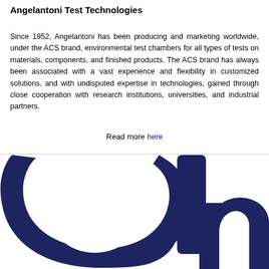Angelantoni Test Technologies
Since 1952, Angelantoni has been producing and marketing worldwide, under the ACS brand, environmental test chambers for all types of tests on materials, components, and finished products. The ACS brand has always been associated with a vast experience and flexibility in customized solutions, and with undisputed expertise in technologies, gained through close cooperation with research institutions, universities, and industrial partners.
Read more here
[Figure (logo): Large dark navy blue Angelantoni logo mark (stylized letter 'a') cropped, showing the bottom portion of the logo graphic]